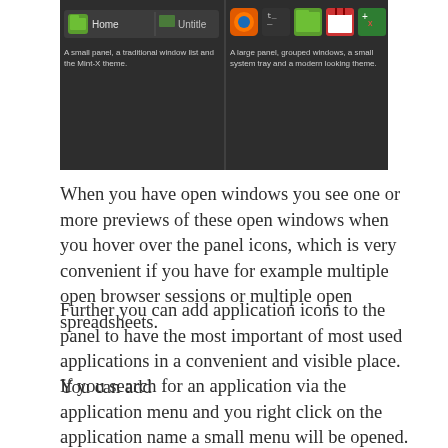[Figure (screenshot): Two panel screenshots: left shows a small panel with Home folder and Untitled window list with Mint-X theme caption; right shows a large panel with grouped windows, colorful app icons, and a small system tray with a modern looking theme caption.]
When you have open windows you see one or more previews of these open windows when you hover over the panel icons, which is very convenient if you have for example multiple open browser sessions or multiple open spreadsheets.
Further you can add application icons to the panel to have the most important of most used applications in a convenient and visible place. You can add
If you search for an application via the application menu and you right click on the application name a small menu will be opened. From this menu you can select the option to add the application to the panel (see the part about the